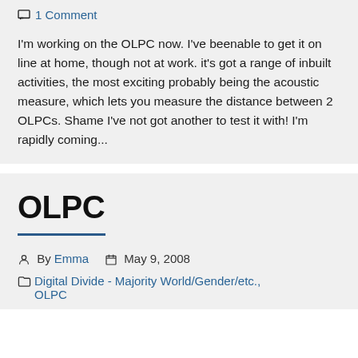1 Comment
I'm working on the OLPC now. I've beenable to get it on line at home, though not at work. it's got a range of inbuilt activities, the most exciting probably being the acoustic measure, which lets you measure the distance between 2 OLPCs. Shame I've not got another to test it with! I'm rapidly coming...
OLPC
By Emma   May 9, 2008
Digital Divide - Majority World/Gender/etc., OLPC